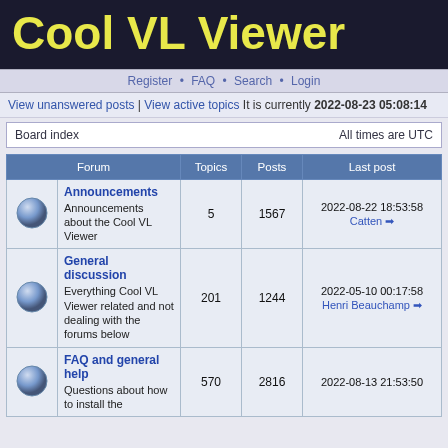Cool VL Viewer
Register • FAQ • Search • Login
View unanswered posts | View active topics It is currently 2022-08-23 05:08:14
Board index   All times are UTC
|  | Forum | Topics | Posts | Last post |
| --- | --- | --- | --- | --- |
| [icon] | Announcements
Announcements about the Cool VL Viewer | 5 | 1567 | 2022-08-22 18:53:58
Catten |
| [icon] | General discussion
Everything Cool VL Viewer related and not dealing with the forums below | 201 | 1244 | 2022-05-10 00:17:58
Henri Beauchamp |
| [icon] | FAQ and general help
Questions about how to install the | 570 | 2816 | 2022-08-13 21:53:50 |